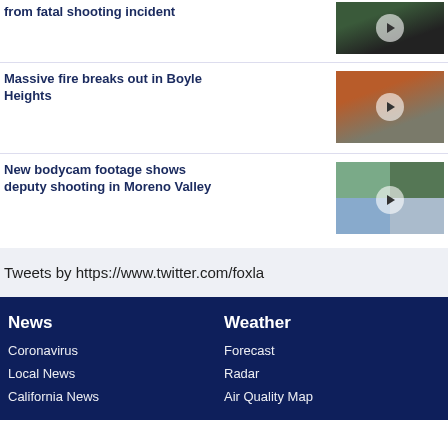from fatal shooting incident
Massive fire breaks out in Boyle Heights
New bodycam footage shows deputy shooting in Moreno Valley
Tweets by https://www.twitter.com/foxla
News
Coronavirus
Local News
California News
Weather
Forecast
Radar
Air Quality Map